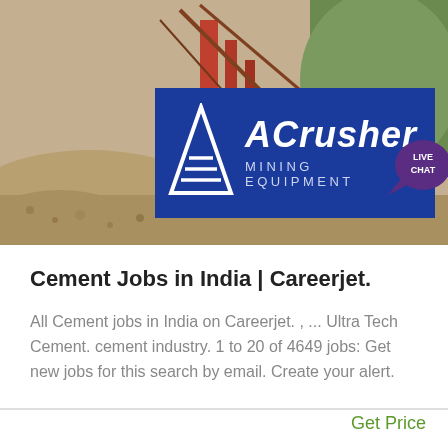[Figure (photo): Mining equipment site background with ACrusher Mining Equipment logo banner and Live Chat bubble overlay]
Cement Jobs in India | Careerjet.
All Cement jobs in India on Careerjet. , ... Ultra Tech Cement. cement industry. 1 to 20 of 4649 jobs: Get new jobs for this search by email. Create your alert.
Get Price